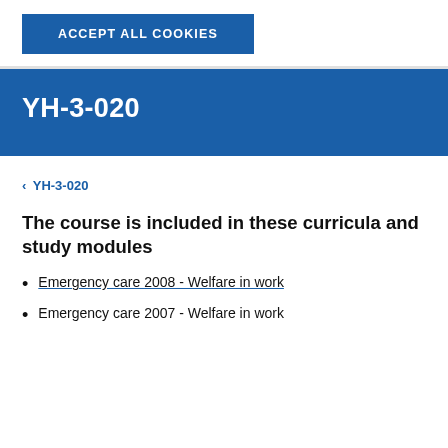[Figure (screenshot): Blue button labeled ACCEPT ALL COOKIES on white cookie consent bar]
YH-3-020
< YH-3-020
The course is included in these curricula and study modules
Emergency care 2008 - Welfare in work
Emergency care 2007 - Welfare in work